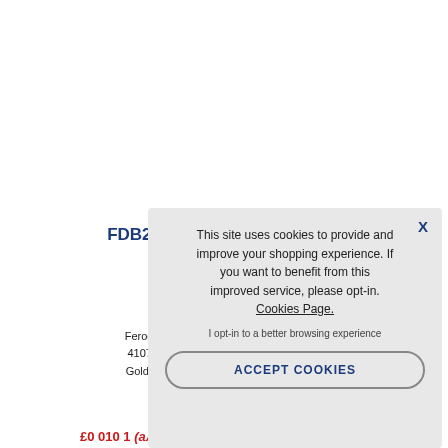FDB2120 Sinter FA3
Ferodo / Ferodo FDB2120 / 4107 / Carbon Lo / GoldFren 177 / Lu
[Figure (screenshot): Cookie consent overlay dialog with text: 'This site uses cookies to provide and improve your shopping experience. If you want to benefit from this improved service, please opt-in. Cookies Page.' and 'I opt-in to a better browsing experience' and an ACCEPT COOKIES button.]
£0 010 1 (альтlll)